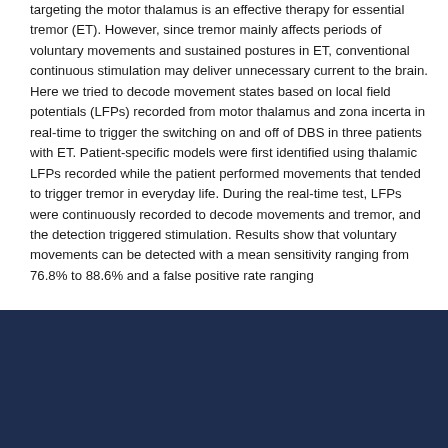targeting the motor thalamus is an effective therapy for essential tremor (ET). However, since tremor mainly affects periods of voluntary movements and sustained postures in ET, conventional continuous stimulation may deliver unnecessary current to the brain. Here we tried to decode movement states based on local field potentials (LFPs) recorded from motor thalamus and zona incerta in real-time to trigger the switching on and off of DBS in three patients with ET. Patient-specific models were first identified using thalamic LFPs recorded while the patient performed movements that tended to trigger tremor in everyday life. During the real-time test, LFPs were continuously recorded to decode movements and tremor, and the detection triggered stimulation. Results show that voluntary movements can be detected with a mean sensitivity ranging from 76.8% to 88.6% and a false positive rate ranging
Cookies on this website
We use cookies to ensure that we give you the best